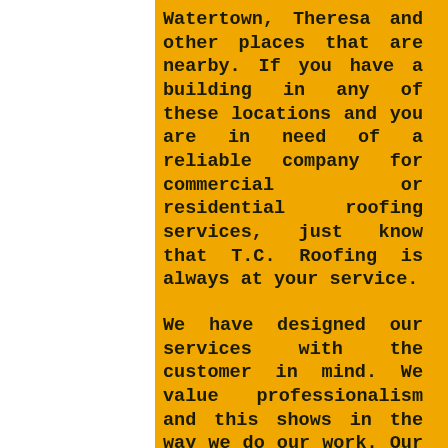Watertown, Theresa and other places that are nearby. If you have a building in any of these locations and you are in need of a reliable company for commercial or residential roofing services, just know that T.C. Roofing is always at your service.

We have designed our services with the customer in mind. We value professionalism and this shows in the way we do our work. Our members of staff are highly trained and experienced individuals. They have worked on many roofing projects within and around Philadelphia, therefore